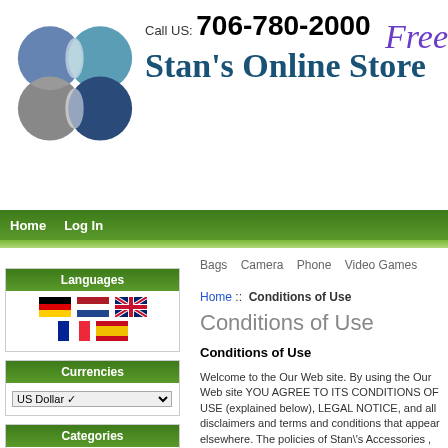[Figure (logo): Stan's Online Store logo with blue circle shapes and store name]
Call US: 706-780-2000  Stan's Online Store  Free
Home  Log In
Bags  Camera  Phone  Video Games
Home :: Conditions of Use
Conditions of Use
Conditions of Use
Welcome to the Our Web site. By using the Our Web site YOU AGREE TO ITS CONDITIONS OF USE (explained below), LEGAL NOTICE, and all disclaimers and terms and conditions that appear elsewhere. The policies of Stan's Accessories , INC Store retail stores may differ and are not applicable to your use of the Our Web site.
The Web site attempts to display product images shown on the site as accurately as possible. However, we cannot guarantee that the color you see matches the product color, as the display of the color depends, in part, upon the monitor you are using.
We will never share any information about you with anybody. We will not send you unsolicited communications of any kind. We will not store your financial information with exceptions! Stan's Accessories,INC uses 128bit encrypted communications for all transactions concerning your financial details. What does this mean? As se
Languages
Currencies
Categories
Bags (1)
Camera-> (239)
Phone-> (34)
Video Games (63)
Hardware-> (454)